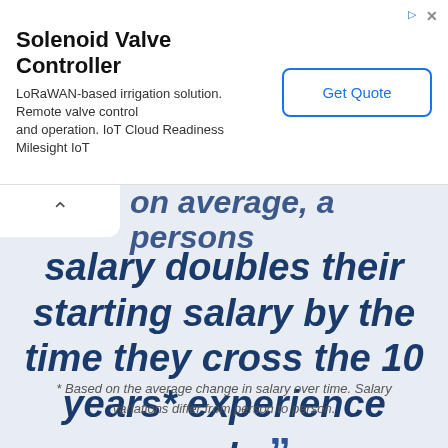[Figure (other): Advertisement banner for Solenoid Valve Controller with Get Quote button]
on average, a persons
salary doubles their starting salary by the time they cross the 10 years* experience mark. ”
* Based on the average change in salary over time. Salary variations differ from person to person.